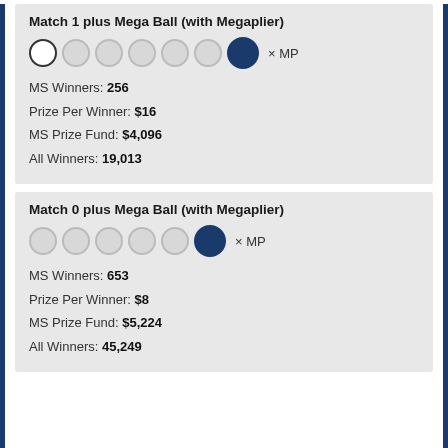Match 1 plus Mega Ball (with Megaplier)
[Figure (illustration): Lottery ball diagram: one white outlined ball (matched), five empty/grey balls, one filled dark-blue Mega Ball, then x MP label]
MS Winners: 256
Prize Per Winner: $16
MS Prize Fund: $4,096
All Winners: 19,013
Match 0 plus Mega Ball (with Megaplier)
[Figure (illustration): Lottery ball diagram: five empty/grey balls, one filled dark-blue Mega Ball, then x MP label]
MS Winners: 653
Prize Per Winner: $8
MS Prize Fund: $5,224
All Winners: 45,249
Additional Details
Additional details for this Mega Millions draw